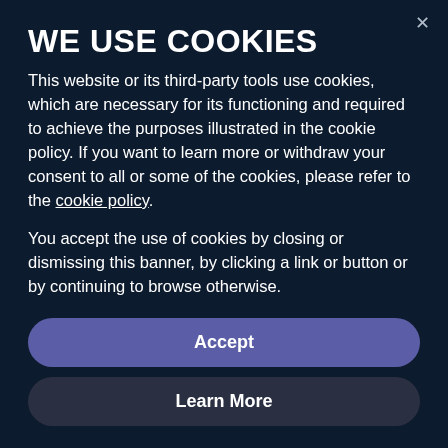WE USE COOKIES
This website or its third-party tools use cookies, which are necessary for its functioning and required to achieve the purposes illustrated in the cookie policy. If you want to learn more or withdraw your consent to all or some of the cookies, please refer to the cookie policy.
You accept the use of cookies by closing or dismissing this banner, by clicking a link or button or by continuing to browse otherwise.
Accept
Learn More